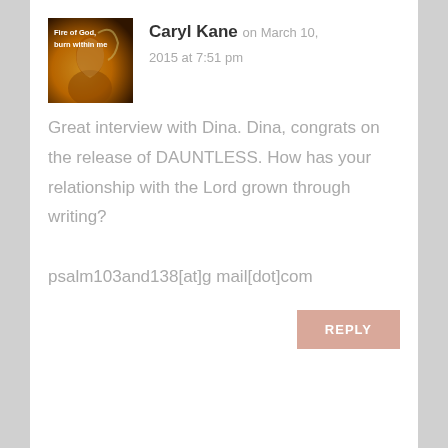[Figure (photo): Avatar image with text 'Fire of God, burn within me' overlaid on a warm orange/gold background showing a person.]
Caryl Kane on March 10, 2015 at 7:51 pm
Great interview with Dina. Dina, congrats on the release of DAUNTLESS. How has your relationship with the Lord grown through writing?

psalm103and138[at]gmail[dot]com
REPLY